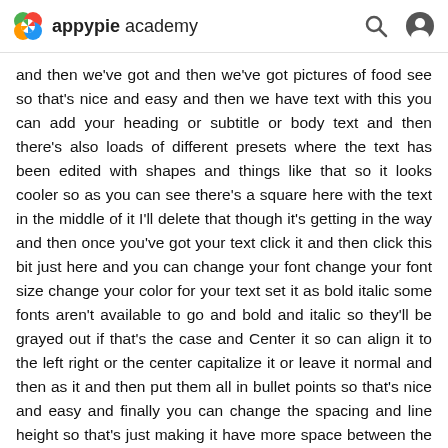appypie academy
and then we've got and then we've got pictures of food see so that's nice and easy and then we have text with this you can add your heading or subtitle or body text and then there's also loads of different presets where the text has been edited with shapes and things like that so it looks cooler so as you can see there's a square here with the text in the middle of it I'll delete that though it's getting in the way and then once you've got your text click it and then click this bit just here and you can change your font change your font size change your color for your text set it as bold italic some fonts aren't available to go and bold and italic so they'll be grayed out if that's the case and Center it so can align it to the left right or the center capitalize it or leave it normal and then as it and then put them all in bullet points so that's nice and easy and finally you can change the spacing and line height so that's just making it have more space between the letters and more or less space between the lines and then there's obviously anchors so you can anchor it to where you want to anchor it but let's just a bit more in depth and that's not too important really after that you can copy a